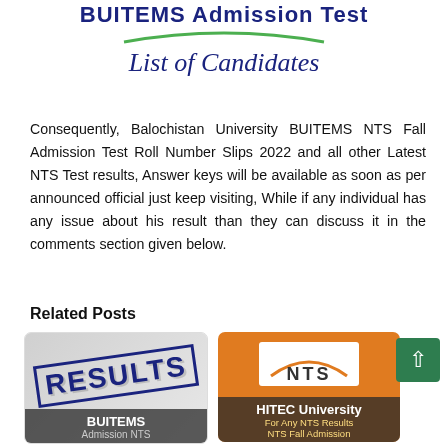BUITEMS Admission Test
List of Candidates
Consequently, Balochistan University BUITEMS NTS Fall Admission Test Roll Number Slips 2022 and all other Latest NTS Test results, Answer keys will be available as soon as per announced official just keep visiting, While if any individual has any issue about his result than they can discuss it in the comments section given below.
Related Posts
[Figure (other): Related post card showing RESULTS text with BUITEMS label overlay]
[Figure (other): Related post card showing NTS logo on orange background with HITEC University label overlay]